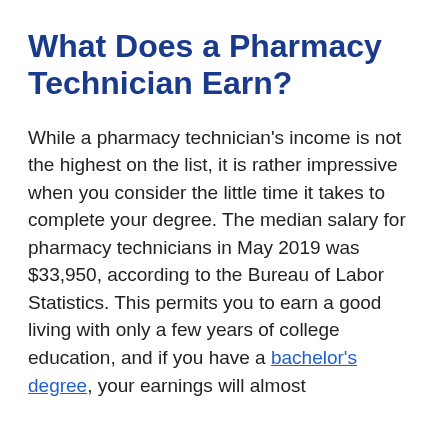What Does a Pharmacy Technician Earn?
While a pharmacy technician's income is not the highest on the list, it is rather impressive when you consider the little time it takes to complete your degree. The median salary for pharmacy technicians in May 2019 was $33,950, according to the Bureau of Labor Statistics. This permits you to earn a good living with only a few years of college education, and if you have a bachelor's degree, your earnings will almost